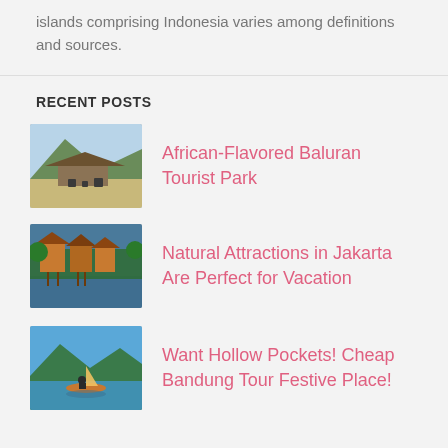islands comprising Indonesia varies among definitions and sources.
RECENT POSTS
[Figure (photo): Thumbnail photo of Baluran Tourist Park showing savanna and animals]
African-Flavored Baluran Tourist Park
[Figure (photo): Thumbnail photo of natural attractions in Jakarta showing wooden houses on water]
Natural Attractions in Jakarta Are Perfect for Vacation
[Figure (photo): Thumbnail photo of Bandung tour showing a boat on a lake with mountains]
Want Hollow Pockets! Cheap Bandung Tour Festive Place!